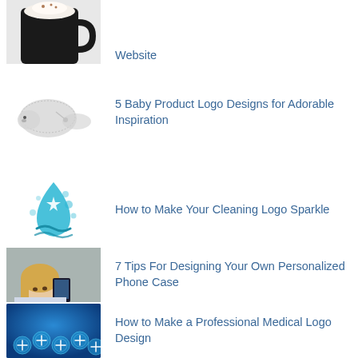[Figure (photo): Partial view of a black mug with hot beverage and whipped cream, cropped at top]
Website
[Figure (illustration): Illustration of a hedgehog baby product logo]
5 Baby Product Logo Designs for Adorable Inspiration
[Figure (logo): Teal water droplet cleaning logo with sparkle and wave]
How to Make Your Cleaning Logo Sparkle
[Figure (photo): Young girl taking a photo or selfie with a smartphone]
7 Tips For Designing Your Own Personalized Phone Case
[Figure (illustration): Blue background with glowing medical/health icon bubbles]
How to Make a Professional Medical Logo Design